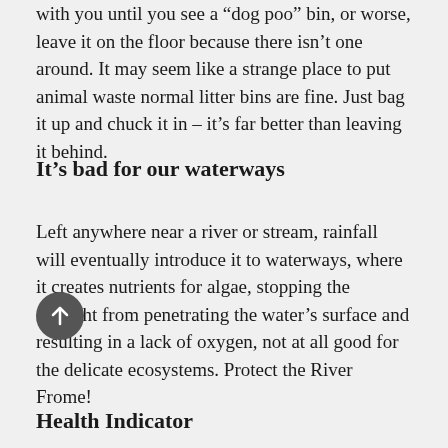with you until you see a "dog poo" bin, or worse, leave it on the floor because there isn't one around. It may seem like a strange place to put animal waste normal litter bins are fine. Just bag it up and chuck it in – it's far better than leaving it behind.
It's bad for our waterways
Left anywhere near a river or stream, rainfall will eventually introduce it to waterways, where it creates nutrients for algae, stopping the sunlight from penetrating the water's surface and resulting in a lack of oxygen, not at all good for the delicate ecosystems. Protect the River Frome!
Health Indicator